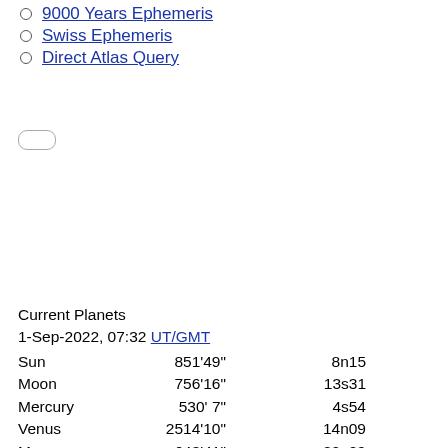9000 Years Ephemeris
Swiss Ephemeris
Direct Atlas Query
Current Planets
1-Sep-2022, 07:32 UT/GMT
Sun   851'49"   8n15
Moon   756'16"   13s31
Mercury   530' 7"   4s54
Venus   2514'10"   14n09
Mars   643'41"   20n09
Jupiter   650'35"r   1n16
Saturn   2036'52"r   15s52
Uranus   1853'44"r   17n05
Neptune   2427' 8"r   3s19